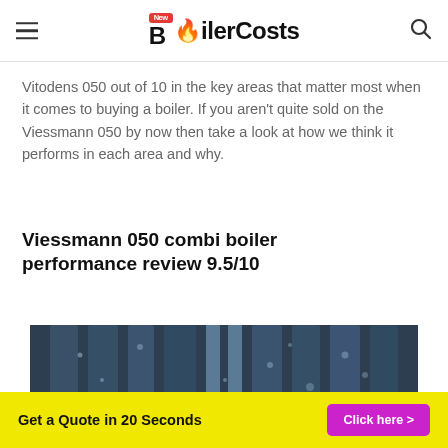New BoilerCosts
Vitodens 050 out of 10 in the key areas that matter most when it comes to buying a boiler. If you aren't quite sold on the Viessmann 050 by now then take a look at how we think it performs in each area and why.
Viessmann 050 combi boiler performance review 9.5/10
[Figure (photo): Close-up photo of metal boiler fins/heat exchanger with water droplets condensed on the surface, dark blue-grey tones.]
Get a Quote in 20 Seconds   Click here >